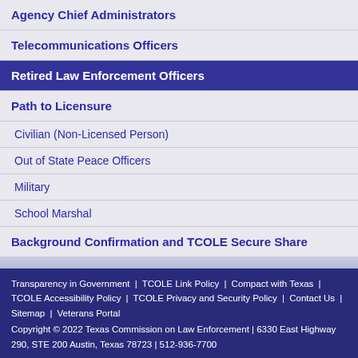Agency Chief Administrators
Telecommunications Officers
Retired Law Enforcement Officers
Path to Licensure
Civilian (Non-Licensed Person)
Out of State Peace Officers
Military
School Marshal
Background Confirmation and TCOLE Secure Share
Transparency in Government | TCOLE Link Policy | Compact with Texas | TCOLE Accessibility Policy | TCOLE Privacy and Security Policy | Contact Us | Sitemap | Veterans Portal
Copyright © 2022 Texas Commission on Law Enforcement | 6330 East Highway 290, STE 200 Austin, Texas 78723 | 512-936-7700